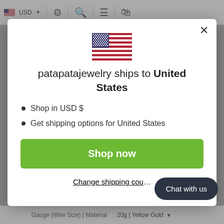USD
[Figure (illustration): US flag icon in modal center]
patapatajewelry ships to United States
Shop in USD $
Get shipping options for United States
Shop now
Change shipping country
Chat with us
Gauge (Wire Size) | Material    20g | Yellow Gold